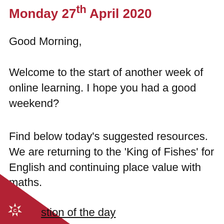Monday 27th April 2020
Good Morning,
Welcome to the start of another week of online learning. I hope you had a good weekend?
Find below today's suggested resources. We are returning to the 'King of Fishes' for English and continuing place value with maths.
Question of the day